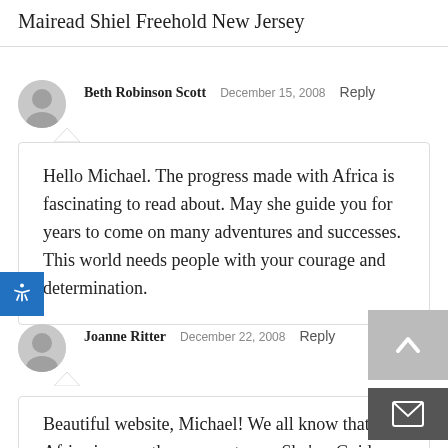Mairead Shiel Freehold New Jersey
Beth Robinson Scott  December 15, 2008  Reply
Hello Michael. The progress made with Africa is fascinating to read about. May she guide you for years to come on many adventures and successes. This world needs people with your courage and determination.
Joanne Ritter  December 22, 2008  Reply
Beautiful website, Michael! We all know that Afri… is more than a country — She's a Guide Dog, for